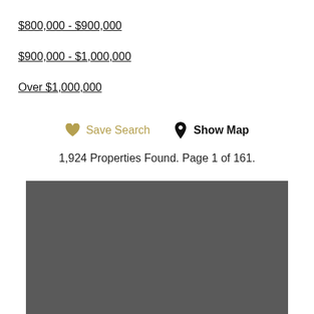$800,000 - $900,000
$900,000 - $1,000,000
Over $1,000,000
♥ Save Search   📍 Show Map
1,924 Properties Found. Page 1 of 161.
[Figure (other): Gray map placeholder area]